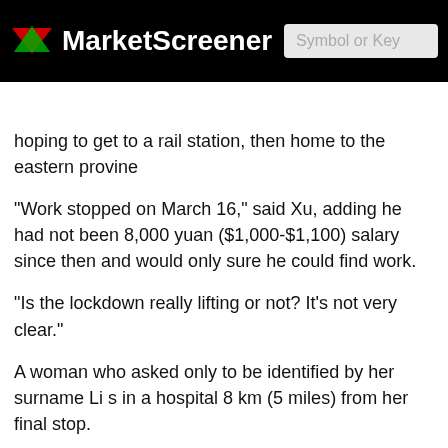MarketScreener
MARKETS NEWS ANALYSIS STOCK PICKS PORTFOLIOS WATCHLI
hoping to get to a rail station, then home to the eastern provine
"Work stopped on March 16," said Xu, adding he had not been 8,000 yuan ($1,000-$1,100) salary since then and would only sure he could find work.
"Is the lockdown really lifting or not? It's not very clear."
A woman who asked only to be identified by her surname Li s in a hospital 8 km (5 miles) from her final stop.
"I'm going to the heart hospital, but I don't know whether the once I get to the railway station," Li said. "I might have to walk
Four of the 20 lines reopened, and 273 bus routes. Some h